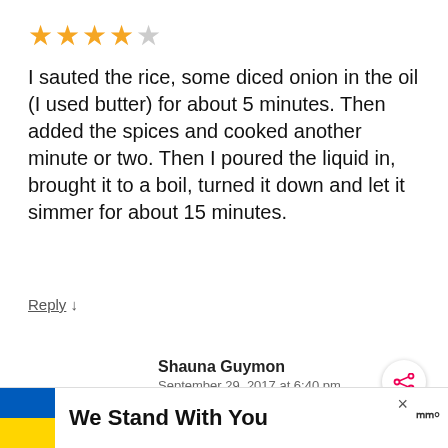[Figure (other): 4 out of 5 star rating shown as yellow and grey stars]
I sauted the rice, some diced onion in the oil (I used butter) for about 5 minutes. Then added the spices and cooked another minute or two. Then I poured the liquid in, brought it to a boil, turned it down and let it simmer for about 15 minutes.
Reply ↓
Shauna Guymon
September 29, 2017 at 6:40 pm
Oops, Forgot to add that I covered it while it simmered and I needed an extra cup o
[Figure (other): Share button icon (circle with three dots connected)]
[Figure (other): What's Next widget showing Tiana's Famous... with a character image]
[Figure (other): We Stand With You banner with Ukrainian flag colors (blue and yellow) and close button]